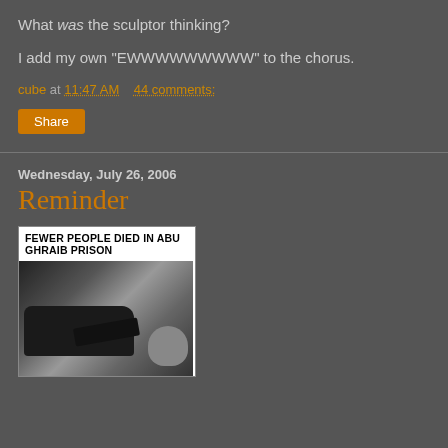What was the sculptor thinking?
I add my own "EWWWWWWWWW" to the chorus.
cube at 11:47 AM   44 comments:
Share
Wednesday, July 26, 2006
Reminder
[Figure (photo): Image with headline text 'FEWER PEOPLE DIED IN ABU GHRAIB PRISON' above a black and white photo showing a car, a gun, and an animal (dog).]